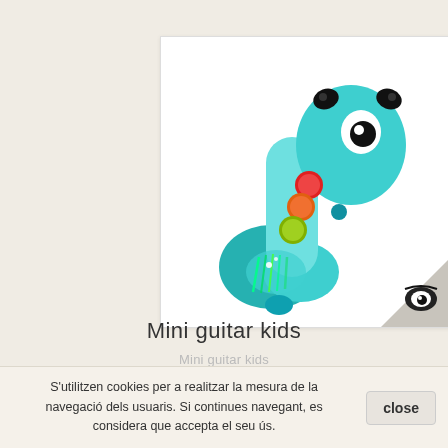[Figure (photo): Photo of a mini guitar toy for kids, teal/blue colored with colorful buttons (red, orange, yellow-green), light-up strings, and a face design with black ear-like knobs and an eye. Has an eye-like logo in the bottom-right corner badge.]
Mini guitar kids
Mini guitar kids
S'utilitzen cookies per a realitzar la mesura de la navegació dels usuaris. Si continues navegant, es considera que accepta el seu ús.